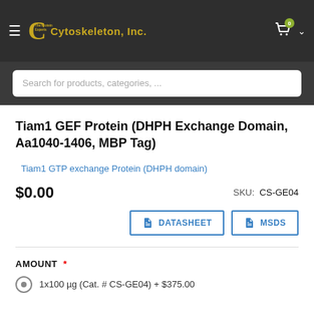Cytoskeleton, Inc. — navigation header with search bar
Tiam1 GEF Protein (DHPH Exchange Domain, Aa1040-1406, MBP Tag)
Tiam1 GTP exchange Protein (DHPH domain)
$0.00  SKU: CS-GE04
DATASHEET | MSDS
AMOUNT *
1x100 µg (Cat. # CS-GE04) + $375.00